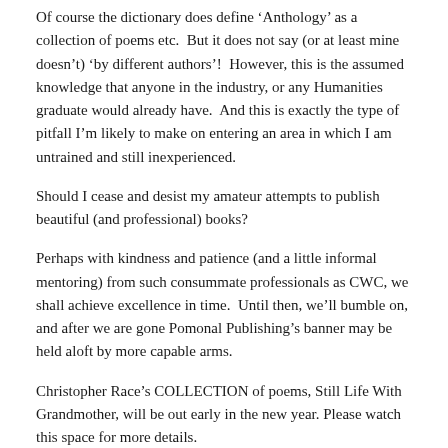Of course the dictionary does define ‘Anthology’ as a collection of poems etc.  But it does not say (or at least mine doesn’t) ‘by different authors’!  However, this is the assumed knowledge that anyone in the industry, or any Humanities graduate would already have.  And this is exactly the type of pitfall I’m likely to make on entering an area in which I am untrained and still inexperienced.
Should I cease and desist my amateur attempts to publish beautiful (and professional) books?
Perhaps with kindness and patience (and a little informal mentoring) from such consummate professionals as CWC, we shall achieve excellence in time.  Until then, we’ll bumble on, and after we are gone Pomonal Publishing’s banner may be held aloft by more capable arms.
Christopher Race’s COLLECTION of poems, Still Life With Grandmother, will be out early in the new year. Please watch this space for more details.